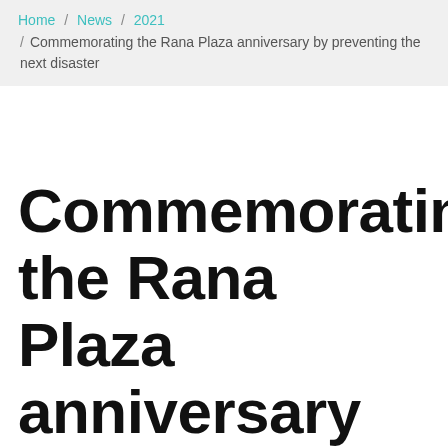Home / News / 2021 / Commemorating the Rana Plaza anniversary by preventing the next disaster
Commemorating the Rana Plaza anniversary by preventing the next disaster